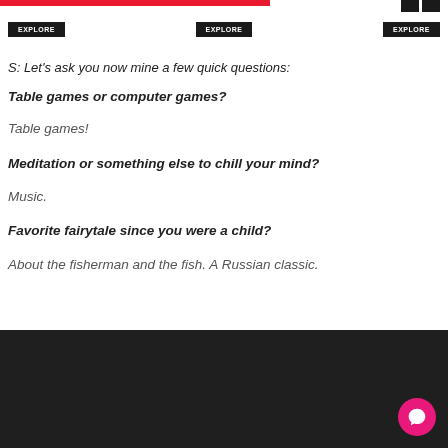[Figure (screenshot): Red horizontal bar at top left, three EXPLORE buttons below, dark squares top right]
S: Let's ask you now mine a few quick questions:
Table games or computer games?
Table games!
Meditation or something else to chill your mind?
Music.
Favorite fairytale since you were a child?
About the fisherman and the fish. A Russian classic.
[Figure (screenshot): Dark footer area with pink chat bubble icon in bottom right corner]